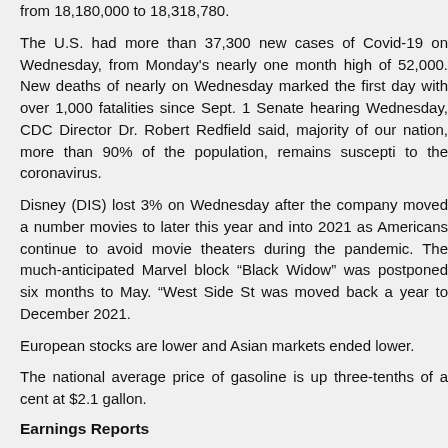from 18,180,000 to 18,318,780.
The U.S. had more than 37,300 new cases of Covid-19 on Wednesday, from Monday’s nearly one month high of 52,000. New deaths of nearly on Wednesday marked the first day with over 1,000 fatalities since Sept. 1 Senate hearing Wednesday, CDC Director Dr. Robert Redfield said, majority of our nation, more than 90% of the population, remains susceptible to the coronavirus.
Disney (DIS) lost 3% on Wednesday after the company moved a number movies to later this year and into 2021 as Americans continue to avoid movie theaters during the pandemic. The much-anticipated Marvel block “Black Widow” was postponed six months to May. “West Side St was moved back a year to December 2021.
European stocks are lower and Asian markets ended lower.
The national average price of gasoline is up three-tenths of a cent at $2.1 gallon.
Earnings Reports
Nike (NKE) 116.87 (+3.09%) reported earnings on 9/22/2020 after the close of $0.95, beating estimates calling for $0.458 per share. Last I che was trading at 132.15 in after-hours. [Closed at $114.90, +1.93% on 9/9/20
Today’s Featured Dow Stock
Walmart